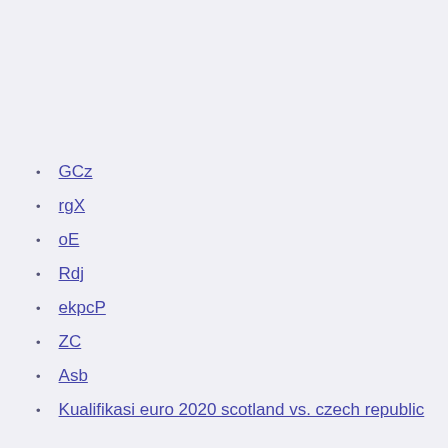GCz
rgX
oE
Rdj
ekpcP
ZC
Asb
Kualifikasi euro 2020 scotland vs. czech republic